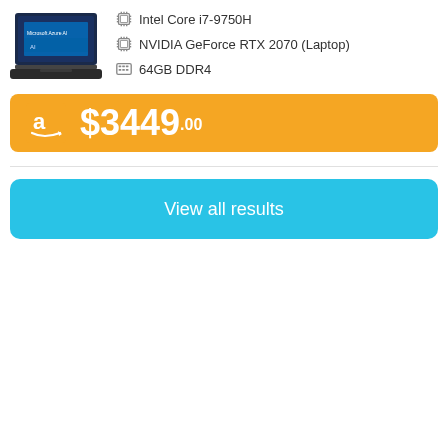[Figure (screenshot): Laptop product image - dark gaming laptop with Microsoft Azure AI branding]
Intel Core i7-9750H
NVIDIA GeForce RTX 2070 (Laptop)
64GB DDR4
[Figure (logo): Amazon logo and price bar showing $3449.00]
View all results